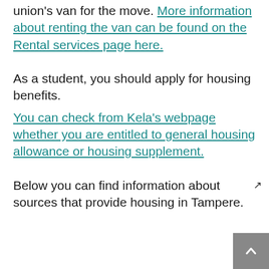union's van for the move. More information about renting the van can be found on the Rental services page here.
As a student, you should apply for housing benefits.
You can check from Kela's webpage whether you are entitled to general housing allowance or housing supplement.
Below you can find information about sources that provide housing in Tampere.